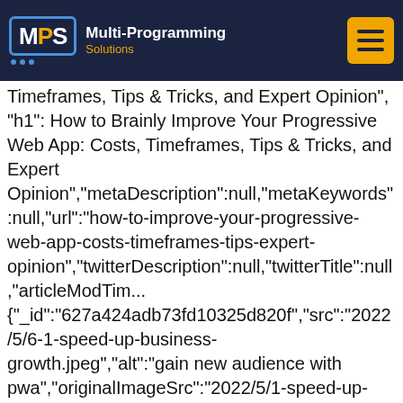MPS Multi-Programming Solutions
Timeframes, Tips & Tricks, and Expert Opinion", "h1": How to Brainly Improve Your Progressive Web App: Costs, Timeframes, Tips & Tricks, and Expert Opinion","metaDescription":null,"metaKeywords":null,"url":"how-to-improve-your-progressive-web-app-costs-timeframes-tips-expert-opinion","twitterDescription":null,"twitterTitle":null,"articleModTime"... {"_id":"627a424adb73fd10325d820f","src":"2022/5/6-1-speed-up-business-growth.jpeg","alt":"gain new audience with pwa","originalImageSrc":"2022/5/1-speed-up-business-growth.jpeg","cropData": {"_id":"627a424adb73fd10325d8210","x":0,"y":0,"width":0,"heigh... {\n \"@context\":\"http://schema.org\",\n \"@type\":\"Article\",\n \"@id\":\"https://multi-programming.com/blog/what-does-it-take-to-create-an-app-tips-tricks-timeframes-expert opinion\",\n \"about\":{\n \"@type\":\"Thing\",\n \"name\":\"How to brainly improve your progressive web app: costs, timeframes, tips &